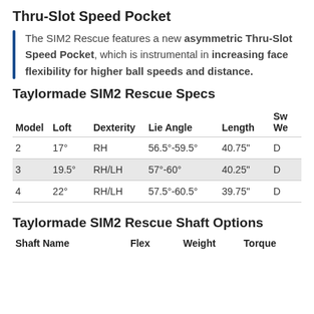Thru-Slot Speed Pocket
The SIM2 Rescue features a new asymmetric Thru-Slot Speed Pocket, which is instrumental in increasing face flexibility for higher ball speeds and distance.
Taylormade SIM2 Rescue Specs
| Model | Loft | Dexterity | Lie Angle | Length | Sw We |
| --- | --- | --- | --- | --- | --- |
| 2 | 17° | RH | 56.5°-59.5° | 40.75" | D |
| 3 | 19.5° | RH/LH | 57°-60° | 40.25" | D |
| 4 | 22° | RH/LH | 57.5°-60.5° | 39.75" | D |
Taylormade SIM2 Rescue Shaft Options
Shaft Name   Flex   Weight   Torque ...